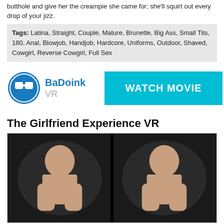butthole and give her the creampie she came for; she'll squirt out every drop of your jizz.
Tags: Latina, Straight, Couple, Mature, Brunette, Big Ass, Small Tits, 180, Anal, Blowjob, Handjob, Hardcore, Uniforms, Outdoor, Shaved, Cowgirl, Reverse Cowgirl, Full Sex
[Figure (logo): BaDoinkVR logo with WATCH MOVIE button]
The Girlfriend Experience VR
[Figure (photo): VR stereoscopic image showing a woman, split into two side-by-side views as typical of VR content]